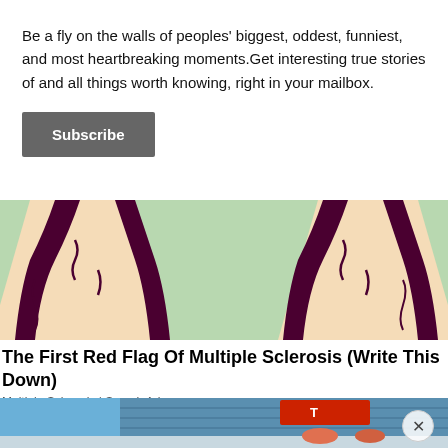Be a fly on the walls of peoples' biggest, oddest, funniest, and most heartbreaking moments.Get interesting true stories of and all things worth knowing, right in your mailbox.
Subscribe
[Figure (illustration): Illustrated graphic showing figures with dark purple outlines on a light green background, depicting stylized human torsos/bodies mirrored symmetrically.]
The First Red Flag Of Multiple Sclerosis (Write This Down)
Multiple Sclerosis | Search Ads
[Figure (photo): Partial photograph showing a building with blue siding, a red sign partially visible, and people below, with a circular close button overlay.]